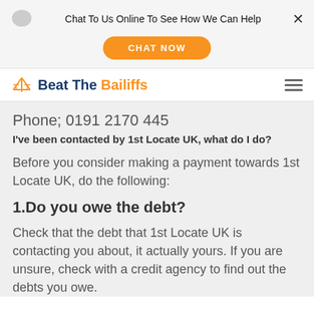Chat To Us Online To See How We Can Help
CHAT NOW
Beat The Bailiffs
Phone; 0191 2170 445
I've been contacted by 1st Locate UK, what do I do?
Before you consider making a payment towards 1st Locate UK, do the following:
1.Do you owe the debt?
Check that the debt that 1st Locate UK is contacting you about, it actually yours. If you are unsure, check with a credit agency to find out the debts you owe.